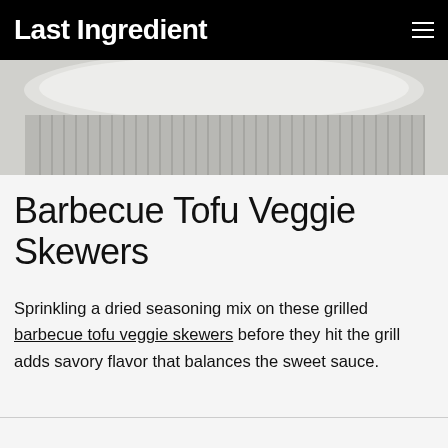Last Ingredient
[Figure (photo): Close-up photo of a white plate with a grey striped linen napkin folded underneath, on a light marble/grey surface.]
Barbecue Tofu Veggie Skewers
Sprinkling a dried seasoning mix on these grilled barbecue tofu veggie skewers before they hit the grill adds savory flavor that balances the sweet sauce.